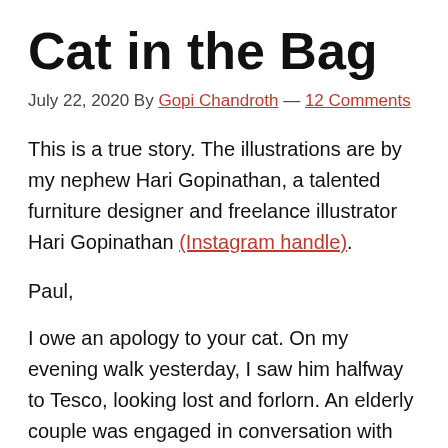Cat in the Bag
July 22, 2020 By Gopi Chandroth — 12 Comments
This is a true story. The illustrations are by my nephew Hari Gopinathan, a talented furniture designer and freelance illustrator Hari Gopinathan (Instagram handle).
Paul,
I owe an apology to your cat. On my evening walk yesterday, I saw him halfway to Tesco, looking lost and forlorn. An elderly couple was engaged in conversation with him. He was instantly recognisable: a mix of tabby and white with